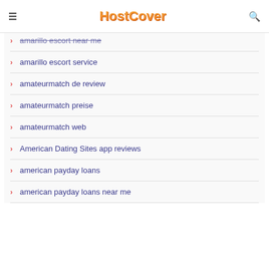HostCover
amarillo escort near me
amarillo escort service
amateurmatch de review
amateurmatch preise
amateurmatch web
American Dating Sites app reviews
american payday loans
american payday loans near me